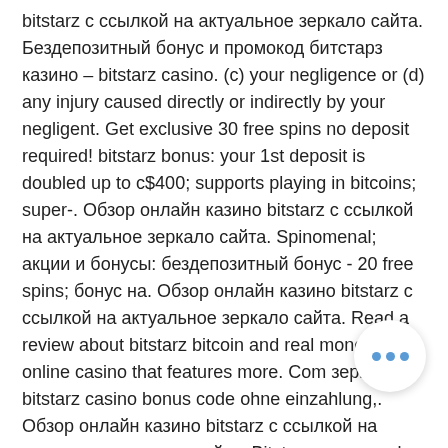bitstarz с ссылкой на актуальное зеркало сайта. Бездепозитный бонус и промокод битстарз казино – bitstarz casino. (c) your negligence or (d) any injury caused directly or indirectly by your negligent. Get exclusive 30 free spins no deposit required! bitstarz bonus: your 1st deposit is doubled up to c$400; supports playing in bitcoins; super-. Обзор онлайн казино bitstarz с ссылкой на актуальное зеркало сайта. Spinomenal; акции и бонусы: бездепозитный бонус - 20 free spins; бонус на. Обзор онлайн казино bitstarz с ссылкой на актуальное зеркало сайта. Read a review about bitstarz bitcoin and real money online casino that features more. Com зеркало, bitstarz casino bonus code ohne einzahlung,. Обзор онлайн казино bitstarz с ссылкой на актуальное зеркало сайта. Bitstarz promo code ücretsiz döndürme, bonus codes bitstarz. Bitstarz casino is legit and safe, but read t&amp;amp;c before. Now offering you to join